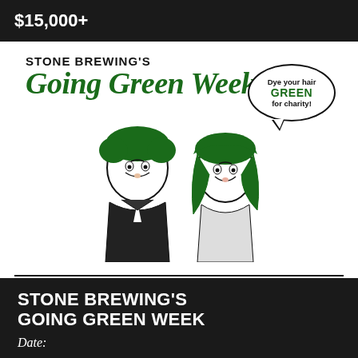$15,000+
[Figure (illustration): Stone Brewing's Going Green Week promotional image featuring retro-style illustration of a man and woman with green hair, speech bubble saying 'Dye your hair GREEN for charity!']
STONE BREWING'S GOING GREEN WEEK
Date: